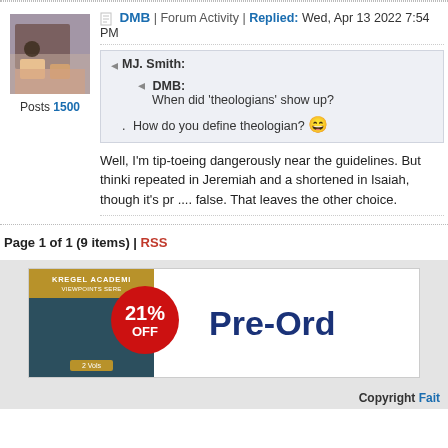DMB | Forum Activity | Replied: Wed, Apr 13 2022 7:54 PM
[Figure (photo): Avatar photo of forum user DMB showing a room scene]
Posts 1500
MJ. Smith: DMB: When did 'theologians' show up? . How do you define theologian?
Well, I'm tip-toeing dangerously near the guidelines. But thinki repeated in Jeremiah and a shortened in Isaiah, though it's pr .... false. That leaves the other choice.
Page 1 of 1 (9 items) | RSS
[Figure (infographic): Advertisement banner for Kregel Academic Viewpoints Series showing 21% OFF and Pre-Order text]
Copyright Fait